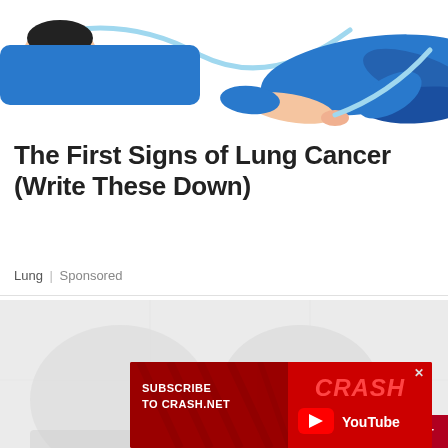[Figure (illustration): Illustration of a person lying down in a blue outfit, with a light blue cord/tube, on white background — partial view cropped at top.]
The First Signs of Lung Cancer (Write These Down)
Lung | Sponsored
[Figure (photo): Faded/blurred photo background, partially visible, representing a second article thumbnail. A red close (X) button appears at the bottom right of this image area.]
[Figure (infographic): Red advertisement banner for Crash.net YouTube channel. Left side reads 'SUBSCRIBE TO CRASH.NET' in white bold uppercase text. Right side shows 'CRASH' in red italic text and a YouTube logo with 'YouTube' in white text. Small X close button at top right corner of ad.]